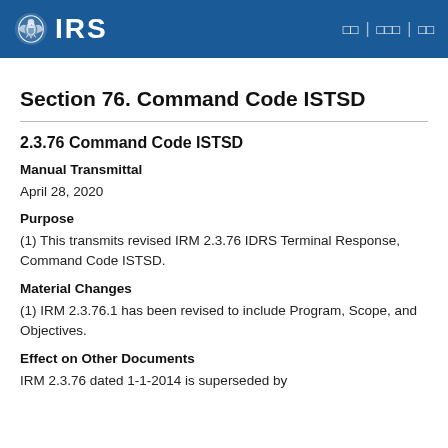IRS | □□ | □□□ | □□
Section 76. Command Code ISTSD
2.3.76 Command Code ISTSD
Manual Transmittal
April 28, 2020
Purpose
(1) This transmits revised IRM 2.3.76 IDRS Terminal Response, Command Code ISTSD.
Material Changes
(1) IRM 2.3.76.1 has been revised to include Program, Scope, and Objectives.
Effect on Other Documents
IRM 2.3.76 dated 1-1-2014 is superseded by...